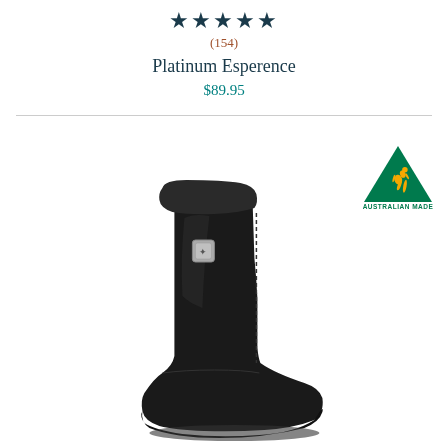★★★★★
(154)
Platinum Esperence
$89.95
[Figure (photo): Black suede UGG-style ankle boot with sheepskin lining and silver metal logo tag on the side, shown against white background.]
[Figure (logo): Australian Made logo: green triangle with yellow kangaroo silhouette and text AUSTRALIAN MADE below.]